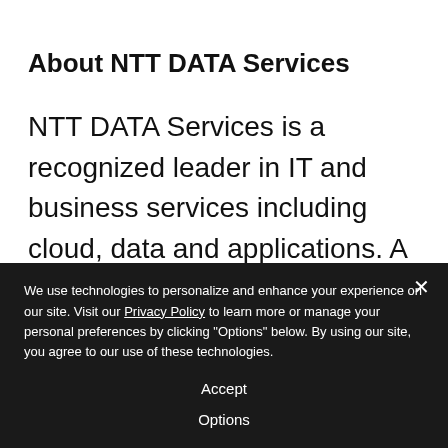About NTT DATA Services
NTT DATA Services is a recognized leader in IT and business services including cloud, data and applications. A division of NTT DATA headquartered in Texas, the company leverages consulting and deep industry expertise to help clients accelerate and
We use technologies to personalize and enhance your experience on our site. Visit our Privacy Policy to learn more or manage your personal preferences by clicking "Options" below. By using our site, you agree to our use of these technologies.
Accept
Options